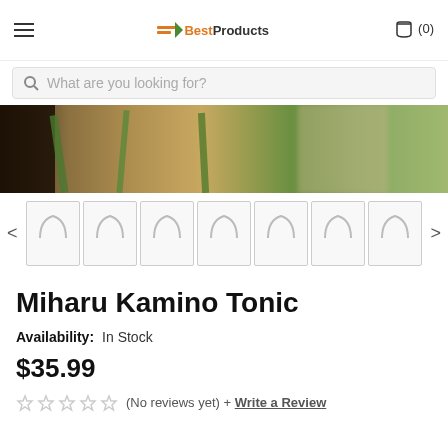≡  BestProducts  🛒 (0)
What are you looking for?
[Figure (photo): Product hero image showing green plant stems on a wooden surface with a dark bottle, partially blurred]
[Figure (photo): Row of 7 product thumbnail placeholders with image loading indicators, with left and right navigation arrows]
Miharu Kamino Tonic
Availability:  In Stock
$35.99
(No reviews yet) + Write a Review